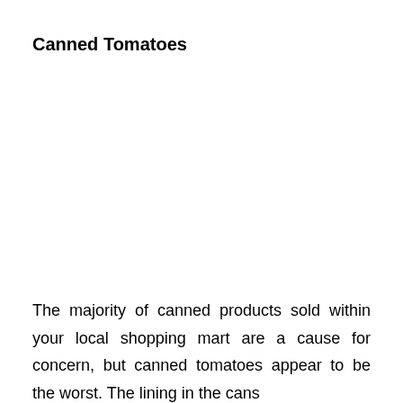Canned Tomatoes
The majority of canned products sold within your local shopping mart are a cause for concern, but canned tomatoes appear to be the worst. The lining in the cans